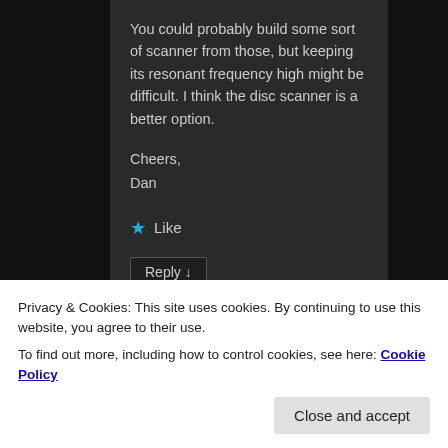You could probably build some sort of scanner from those, but keeping its resonant frequency high might be difficult. I think the disc scanner is a better option.
Cheers,
Dan
★ Like
Reply ↓
Martin
Privacy & Cookies: This site uses cookies. By continuing to use this website, you agree to their use.
To find out more, including how to control cookies, see here: Cookie Policy
Close and accept
with a 90deg bend) on it, you could